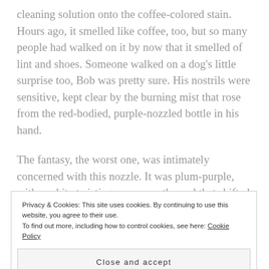cleaning solution onto the coffee-colored stain. Hours ago, it smelled like coffee, too, but so many people had walked on it by now that it smelled of lint and shoes. Someone walked on a dog's little surprise too, Bob was pretty sure. His nostrils were sensitive, kept clear by the burning mist that rose from the red-bodied, purple-nozzled bottle in his hand.
The fantasy, the worst one, was intimately concerned with this nozzle. It was plum-purple, with a white twisting square on the end that shifted from
Privacy & Cookies: This site uses cookies. By continuing to use this website, you agree to their use. To find out more, including how to control cookies, see here: Cookie Policy
Close and accept
usually only smelled, the sickly sweet chemicals